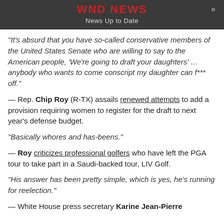WND NEWS — News Up to Date
“It’s absurd that you have so-called conservative members of the United States Senate who are willing to say to the American people, ‘We’re going to draft your daughters’ … anybody who wants to come conscript my daughter can f*** off.”
— Rep. Chip Roy (R-TX) assails renewed attempts to add a provision requiring women to register for the draft to next year’s defense budget.
“Basically whores and has-beens.”
— Roy criticizes professional golfers who have left the PGA tour to take part in a Saudi-backed tour, LIV Golf.
“His answer has been pretty simple, which is yes, he’s running for reelection.”
— White House press secretary Karine Jean-Pierre